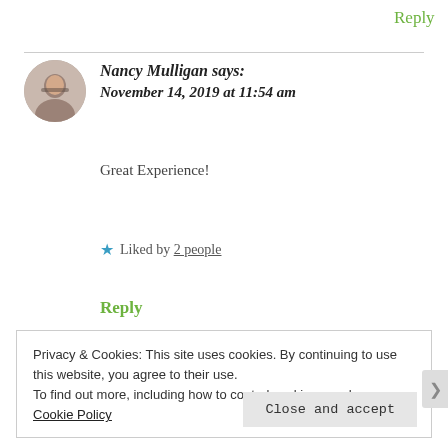Reply
Nancy Mulligan says: November 14, 2019 at 11:54 am
Great Experience!
★ Liked by 2 people
Reply
Privacy & Cookies: This site uses cookies. By continuing to use this website, you agree to their use. To find out more, including how to control cookies, see here: Cookie Policy
Close and accept